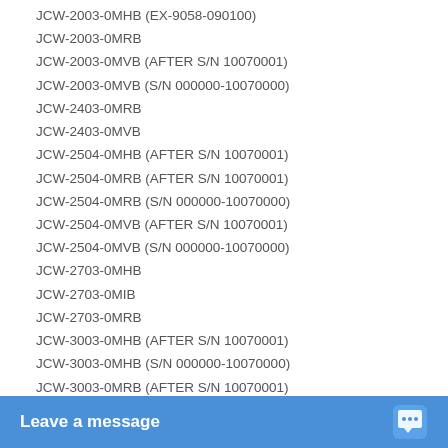JCW-2003-0MHB (EX-9058-090100)
JCW-2003-0MRB
JCW-2003-0MVB (AFTER S/N 10070001)
JCW-2003-0MVB (S/N 000000-10070000)
JCW-2403-0MRB
JCW-2403-0MVB
JCW-2504-0MHB (AFTER S/N 10070001)
JCW-2504-0MRB (AFTER S/N 10070001)
JCW-2504-0MRB (S/N 000000-10070000)
JCW-2504-0MVB (AFTER S/N 10070001)
JCW-2504-0MVB (S/N 000000-10070000)
JCW-2703-0MHB
JCW-2703-0MIB
JCW-2703-0MRB
JCW-3003-0MHB (AFTER S/N 10070001)
JCW-3003-0MHB (S/N 000000-10070000)
JCW-3003-0MRB (AFTER S/N 10070001)
JCW-3003-0MRB (S/N 000000-10070000)
JCW-3003-0MVB (AFTER S/N 10070001)
JCW-3003-0MVB (S/N 000000-10070000)
JCW-3004-0MHB (AFTER S/N 10070001)
JCW-3004-0MHB (S/N 000000-10070000)
JCW-3004-0MVB (AFTER S/N 10070001)
JCW-3004-0MVB (S/N 00000…
JCW-3504-0MHB (S/N 00000…